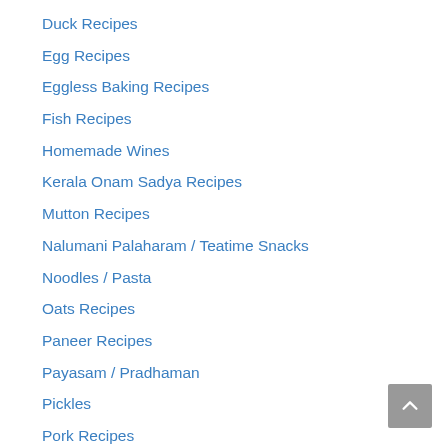Duck Recipes
Egg Recipes
Eggless Baking Recipes
Fish Recipes
Homemade Wines
Kerala Onam Sadya Recipes
Mutton Recipes
Nalumani Palaharam / Teatime Snacks
Noodles / Pasta
Oats Recipes
Paneer Recipes
Payasam / Pradhaman
Pickles
Pork Recipes